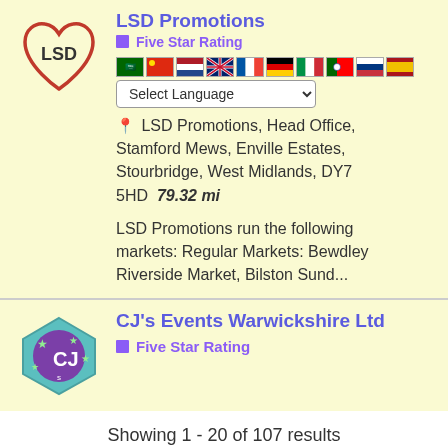LSD Promotions
Five Star Rating
LSD Promotions, Head Office, Stamford Mews, Enville Estates, Stourbridge, West Midlands, DY7 5HD  79.32 mi
LSD Promotions run the following markets: Regular Markets: Bewdley Riverside Market, Bilston Sund...
CJ's Events Warwickshire Ltd
Five Star Rating
Showing 1 - 20 of 107 results
« 1 2 3 ... 6 »